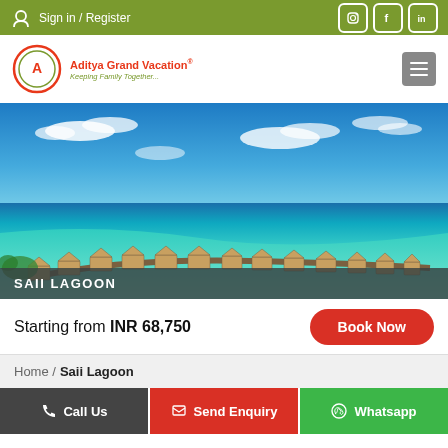Sign in / Register
[Figure (logo): Aditya Grand Vacation logo with circular emblem, text 'Aditya Grand Vacation®' in red and tagline 'Keeping Family Together...' in green]
[Figure (photo): Aerial view of Maldives overwater bungalows on turquoise lagoon with blue sky]
SAII LAGOON
Starting from INR 68,750
Book Now
Home / Saii Lagoon
Call Us  Send Enquiry  Whatsapp